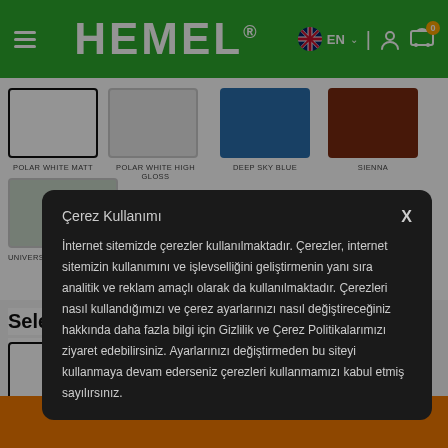HEMEL® — EN | 0
[Figure (screenshot): Color swatches: POLAR WHITE MATT (white with black border), POLAR WHITE HIGH GLOSS (light grey), DEEP SKY BLUE (blue), SIENNA (dark reddish-brown), UNIVERSAL PRIMER (light grey-green)]
Select Packaging: 1
1   5
5 L. and over packaging
Çerez Kullanımı
İnternet sitemizde çerezler kullanılmaktadır. Çerezler, internet sitemizin kullanımını ve işlevselliğini geliştirmenin yanı sıra analitik ve reklam amaçlı olarak da kullanılmaktadır. Çerezleri nasıl kullandığımızı ve çerez ayarlarınızı nasıl değiştireceğiniz hakkında daha fazla bilgi için Gizlilik ve Çerez Politikalarımızı ziyaret edebilirsiniz. Ayarlarınızı değiştirmeden bu siteyi kullanmaya devam ederseniz çerezleri kullanmamızı kabul etmiş sayılırsınız.